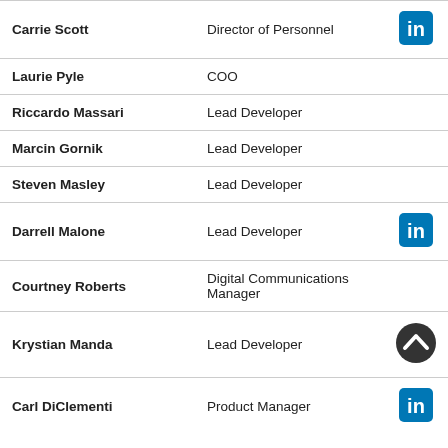| Name | Title |  |
| --- | --- | --- |
| Carrie Scott | Director of Personnel | LinkedIn |
| Laurie Pyle | COO |  |
| Riccardo Massari | Lead Developer |  |
| Marcin Gornik | Lead Developer |  |
| Steven Masley | Lead Developer |  |
| Darrell Malone | Lead Developer | LinkedIn |
| Courtney Roberts | Digital Communications Manager |  |
| Krystian Manda | Lead Developer | scroll-up |
| Carl DiClementi | Product Manager | LinkedIn |